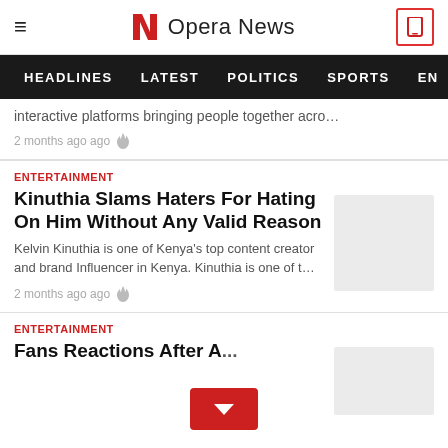Opera News
HEADLINES   LATEST   POLITICS   SPORTS   EN
interactive platforms bringing people together acro…
2 months ago ago
ENTERTAINMENT
Kinuthia Slams Haters For Hating On Him Without Any Valid Reason
Kelvin Kinuthia is one of Kenya's top content creator and brand Influencer in Kenya. Kinuthia is one of t…
2 months ago ago
ENTERTAINMENT
Fans Reactions After A...